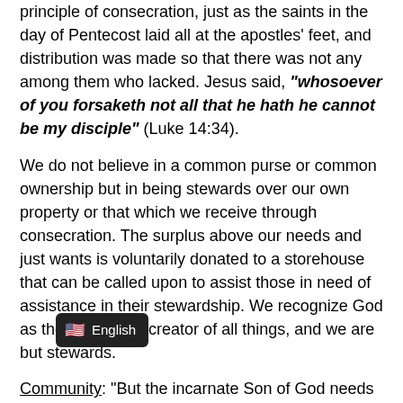principle of consecration, just as the saints in the day of Pentecost laid all at the apostles' feet, and distribution was made so that there was not any among them who lacked. Jesus said, "whosoever of you forsaketh not all that he hath he cannot be my disciple" (Luke 14:34).
We do not believe in a common purse or common ownership but in being stewards over our own property or that which we receive through consecration. The surplus above our needs and just wants is voluntarily donated to a storehouse that can be called upon to assist those in need of assistance in their stewardship. We recognize God as the owner and creator of all things, and we are but stewards.
Community: "But the incarnate Son of God needs not only ears or hearts, but living people who will follow him. That is why he called his disciples into a literal, bodily following, and thus made his fellowship with them a visible reality....
....In order that they might enjoy that fellowship with him, the disciples must leave everything else behind, and subjection, suffering and persecution. Yet even in the midst of tension, they experiencing all the hardship in...